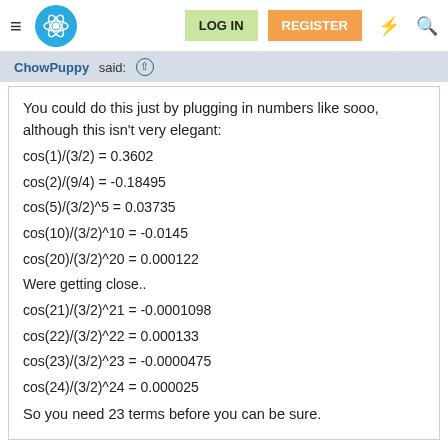LOG IN  REGISTER
ChowPuppy said: ↑
You could do this just by plugging in numbers like sooo, although this isn't very elegant:
cos(1)/(3/2) = 0.3602
cos(2)/(9/4) = -0.18495
cos(5)/(3/2)^5 = 0.03735
cos(10)/(3/2)^10 = -0.0145
cos(20)/(3/2)^20 = 0.000122
Were getting close..
cos(21)/(3/2)^21 = -0.0001098
cos(22)/(3/2)^22 = 0.000133
cos(23)/(3/2)^23 = -0.0000475
cos(24)/(3/2)^24 = 0.000025

So you need 23 terms before you can be sure.
This is incorrect - the general term in the